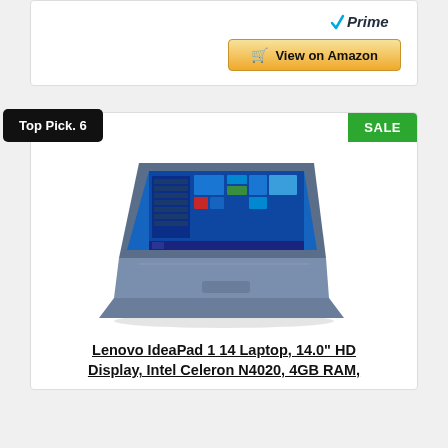[Figure (other): Amazon Prime logo with checkmark]
View on Amazon
Top Pick. 6
SALE
[Figure (photo): Lenovo IdeaPad 1 14 laptop in blue color, open at an angle showing Windows 10 desktop on screen]
Lenovo IdeaPad 1 14 Laptop, 14.0" HD Display, Intel Celeron N4020, 4GB RAM,